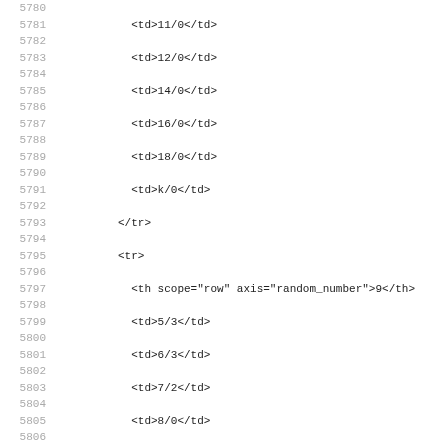Code listing lines 5780-5811 showing HTML table markup with line numbers. Lines include td elements with fraction values and tr/th elements with scope and axis attributes for random_number rows 9 and 0.